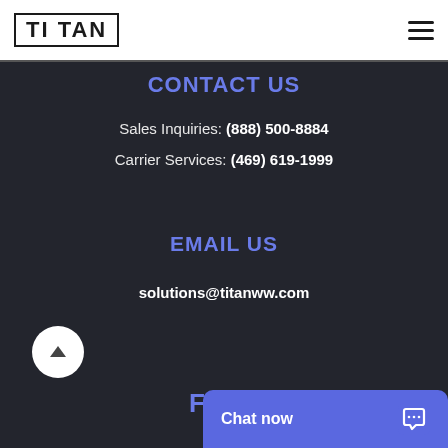[Figure (logo): TITAN company logo with block letters inside a rectangle border]
CONTACT US
Sales Inquiries: (888) 500-8884
Carrier Services: (469) 619-1999
EMAIL US
solutions@titanww.com
FEAT